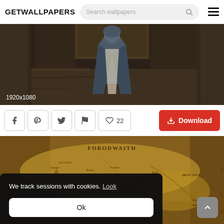GETWALLPAPERS — Search wallpapers
[Figure (screenshot): Cropped screenshot of a dark fantasy game character standing in stone ruins, resolution label 1920x1080]
1920x1080
[Figure (screenshot): Action bar with social share icons (Facebook, Pinterest, Twitter, flag), heart/like button showing 22, and a red Download button]
[Figure (screenshot): Fantasy map wallpaper showing 'FORODWAITH' region in golden/brown tones]
We track sessions with cookies. Look
Ok